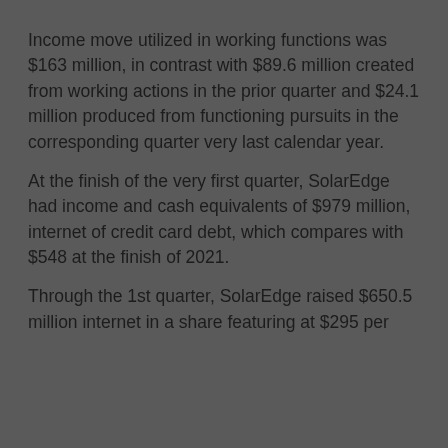&#13;
Income move utilized in working functions was $163 million, in contrast with $89.6 million created from working actions in the prior quarter and $24.1 million produced from functioning pursuits in the corresponding quarter very last calendar year.
&#13;
At the finish of the very first quarter, SolarEdge had income and cash equivalents of $979 million, internet of credit card debt, which compares with $548 at the finish of 2021.
&#13;
Through the 1st quarter, SolarEdge raised $650.5 million internet in a share featuring at $295 per